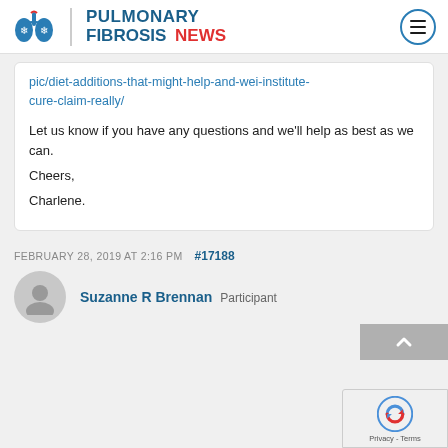[Figure (logo): Pulmonary Fibrosis News logo with lung icon and hamburger menu button]
pic/diet-additions-that-might-help-and-wei-institute-cure-claim-really/
Let us know if you have any questions and we'll help as best as we can.
Cheers,
Charlene.
FEBRUARY 28, 2019 AT 2:16 PM  #17188
Suzanne R Brennan  Participant